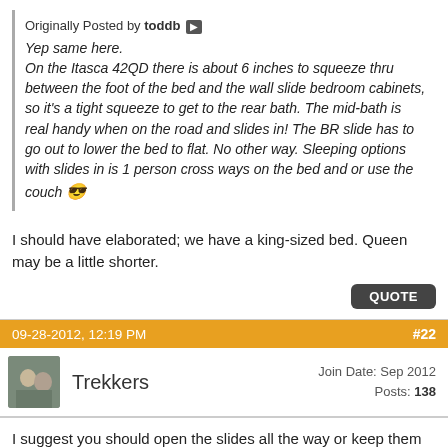Originally Posted by toddb
Yep same here.
On the Itasca 42QD there is about 6 inches to squeeze thru between the foot of the bed and the wall slide bedroom cabinets, so it's a tight squeeze to get to the rear bath. The mid-bath is real handy when on the road and slides in! The BR slide has to go out to lower the bed to flat. No other way. Sleeping options with slides in is 1 person cross ways on the bed and or use the couch 😎
I should have elaborated; we have a king-sized bed. Queen may be a little shorter.
QUOTE
09-28-2012, 12:19 PM    #22
Trekkers
Join Date: Sep 2012
Posts: 138
I suggest you should open the slides all the way or keep them closed and not partially open them. The seal is effective only if the slides are completely open or closed. In the partial position, water, insects, etc. can gain access.